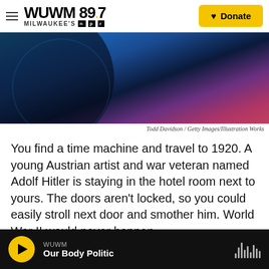WUWM 89.7 Milwaukee's NPR — Donate
[Figure (photo): Abstract close-up photo with blue, teal, dark, and pink/magenta tones, featuring circular shapes — appears to be an artistic/illustrative image.]
Todd Davidson / Getty Images/Illustration Works
You find a time machine and travel to 1920. A young Austrian artist and war veteran named Adolf Hitler is staying in the hotel room next to yours. The doors aren't locked, so you could easily stroll next door and smother him. World War II would never happen.
WUWM — Our Body Politic